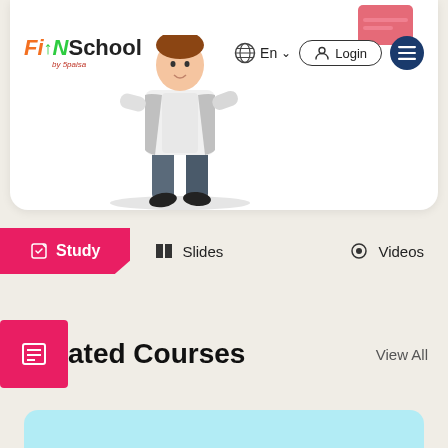[Figure (screenshot): FINSchool by 5paisa website screenshot showing navbar with logo, language selector, login button, hamburger menu, and an illustrated person figure]
Study | Slides | Videos
ated Courses
View All